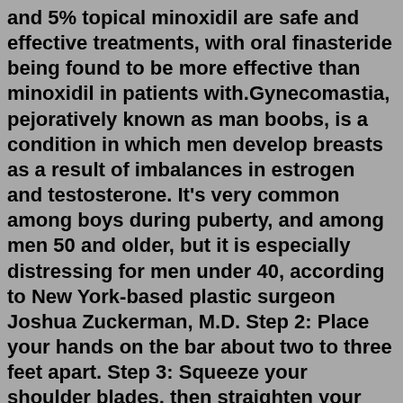and 5% topical minoxidil are safe and effective treatments, with oral finasteride being found to be more effective than minoxidil in patients with.Gynecomastia, pejoratively known as man boobs, is a condition in which men develop breasts as a result of imbalances in estrogen and testosterone. It's very common among boys during puberty, and among men 50 and older, but it is especially distressing for men under 40, according to New York-based plastic surgeon Joshua Zuckerman, M.D. Step 2: Place your hands on the bar about two to three feet apart. Step 3: Squeeze your shoulder blades, then straighten your arms, lifting the bar off the rack. Step 4: Slowly lower the bar until ... Apply the minoxidil solution to the affected areas of your scalp. If necessary, you can spread the minoxidil solution over the target area using your fingers. If you use your fingers, make sure you wash them immediately after applying the solution to your scalp. Allow the minoxidil to dry naturally (do not use a hairdryer to dry the liquid...This, like PRP, saw a statistically...